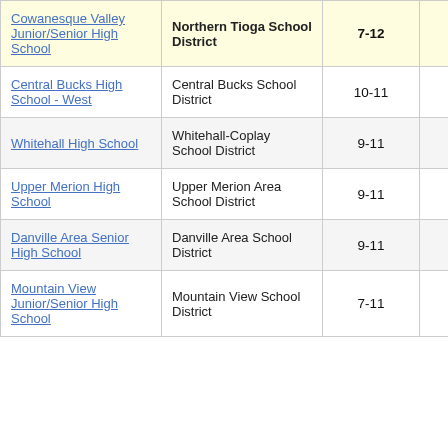| School | District | Grades | Value |  |
| --- | --- | --- | --- | --- |
| Cowanesque Valley Junior/Senior High School | Northern Tioga School District | 7-12 | 6.3 | 4 |
| Central Bucks High School - West | Central Bucks School District | 10-11 | 10.5 |  |
| Whitehall High School | Whitehall-Coplay School District | 9-11 | 12.4 |  |
| Upper Merion High School | Upper Merion Area School District | 9-11 | 14.5 |  |
| Danville Area Senior High School | Danville Area School District | 9-11 | 18.9 |  |
| Mountain View Junior/Senior High School | Mountain View School District | 7-11 | 24.8 |  |